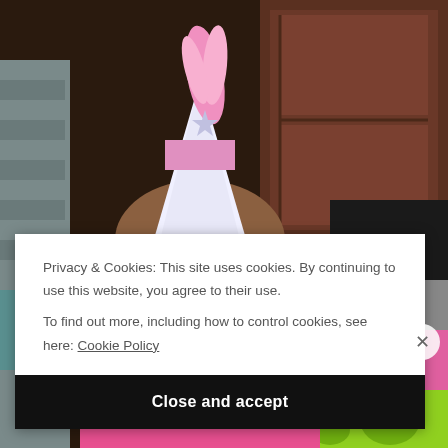[Figure (photo): A baby in a high chair wearing a pink birthday princess party hat and a pink 'My First Birthday' shirt, reaching toward a small birthday cake on a green high chair tray with a red plate. Background shows wooden cabinet and gray striped chair.]
Privacy & Cookies: This site uses cookies. By continuing to use this website, you agree to their use.
To find out more, including how to control cookies, see here: Cookie Policy
Close and accept